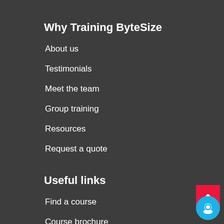Why Training ByteSize
About us
Testimonials
Meet the team
Group training
Resources
Request a quote
Useful links
Find a course
Course brochure
Book your exam